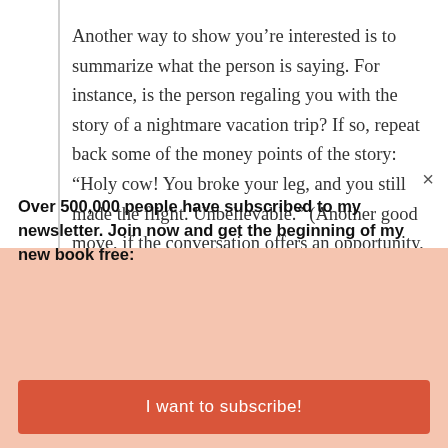Another way to show you’re interested is to summarize what the person is saying. For instance, is the person regaling you with the story of a nightmare vacation trip? If so, repeat back some of the money points of the story: “Holy cow! You broke your leg, and you still made the flight. Unbelievable.” (Another good move, if the conversation offers an opportunity, is to ask
Over 500,000 people have subscribed to my newsletter. Join now and get the beginning of my new book free:
I want to subscribe!